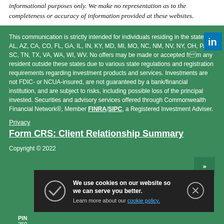informational purposes only. We make no representation as to the completeness or accuracy of information provided at these websites.
This communication is strictly intended for individuals residing in the states of AL, AZ, CA, CO, FL, GA, IL, IN, KY, MD, MI, MO, NC, NM, NV, NY, OH, PA, SC, TN, TX, VA, WA, WI, WV. No offers may be made or accepted from any resident outside these states due to various state regulations and registration requirements regarding investment products and services. Investments are not FDIC- or NCUA-insured, are not guaranteed by a bank/financial institution, and are subject to risks, including possible loss of the principal invested. Securities and advisory services offered through Commonwealth Financial Network®, Member FINRA/SIPC, a Registered Investment Adviser.
Privacy
Form CRS: Client Relationship Summary
Copyright © 2022
We use cookies on our website so we can serve you better. Learn more about our cookie policy.
PIN
260